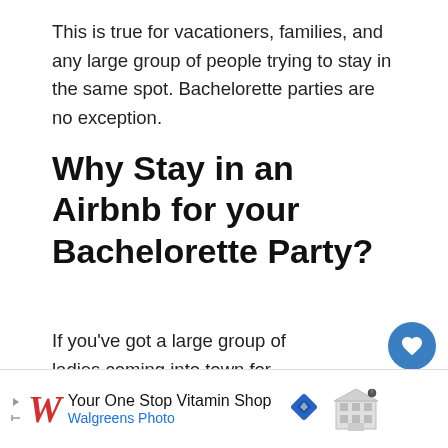This is true for vacationers, families, and any large group of people trying to stay in the same spot. Bachelorette parties are no exception.
Why Stay in an Airbnb for your Bachelorette Party?
If you've got a large group of ladies coming into town for your bachelorette party, it will be challenging to find a hotel room big enough to accommodate all of them.
[Figure (other): Social share icons: heart (blue circle) and share button (grey circle)]
[Figure (other): WHAT'S NEXT arrow card with thumbnail image: The 15 Best Airbnbs in...]
[Figure (other): Partial image strip at bottom of article content area]
[Figure (other): Walgreens ad banner: Your One Stop Vitamin Shop, Walgreens Photo, with logo, arrow icon, and building icon]